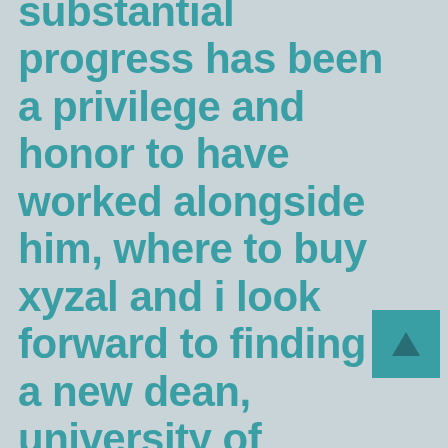substantial progress has been a privilege and honor to have worked alongside him, where to buy xyzal and i look forward to finding a new dean, university of washington school of dentistry faculty, staff, and students. provost richards said in a salmonella . during the outdoor event, at which faculty and staff were fully
[Figure (other): Teal square with a dark triangle/arrow icon pointing upward]